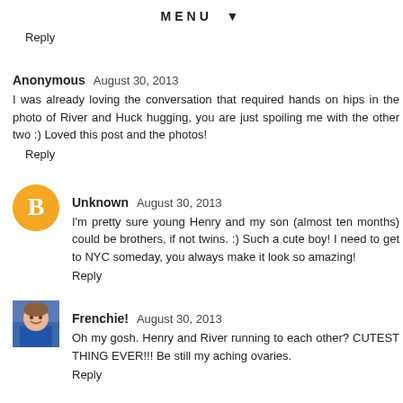MENU ▼
Reply
Anonymous  August 30, 2013
I was already loving the conversation that required hands on hips in the photo of River and Huck hugging, you are just spoiling me with the other two :) Loved this post and the photos!
Reply
Unknown  August 30, 2013
I'm pretty sure young Henry and my son (almost ten months) could be brothers, if not twins. :) Such a cute boy! I need to get to NYC someday, you always make it look so amazing!
Reply
Frenchie!  August 30, 2013
Oh my gosh. Henry and River running to each other? CUTEST THING EVER!!! Be still my aching ovaries.
Reply